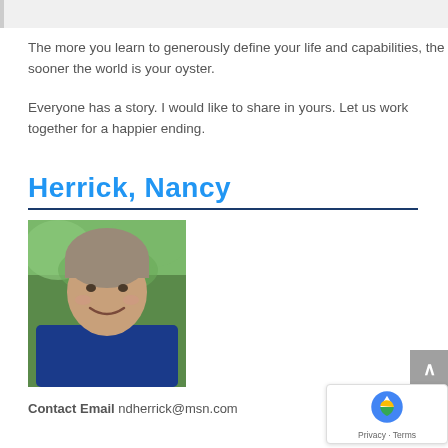The more you learn to generously define your life and capabilities, the sooner the world is your oyster.
Everyone has a story. I would like to share in yours. Let us work together for a happier ending.
Herrick, Nancy
[Figure (photo): Portrait photo of Nancy Herrick, a woman with short gray hair, smiling, wearing a blue shirt, with green trees in the background.]
Contact Email  ndherrick@msn.com